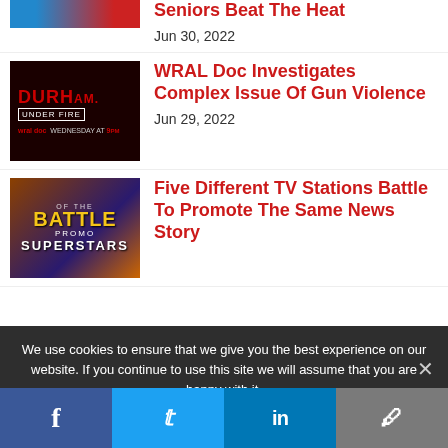[Figure (photo): Partial thumbnail image at top, cropped]
Seniors Beat The Heat
Jun 30, 2022
[Figure (photo): Durham Under Fire documentary thumbnail with red title text on dark background, WRAL doc Wednesday at 9pm]
WRAL Doc Investigates Complex Issue Of Gun Violence
Jun 29, 2022
[Figure (photo): Battle of the Promo Superstars thumbnail with gold and white text on dark gradient background]
Five Different TV Stations Battle To Promote The Same News Story
We use cookies to ensure that we give you the best experience on our website. If you continue to use this site we will assume that you are happy with it.
Facebook | Twitter | LinkedIn | Email